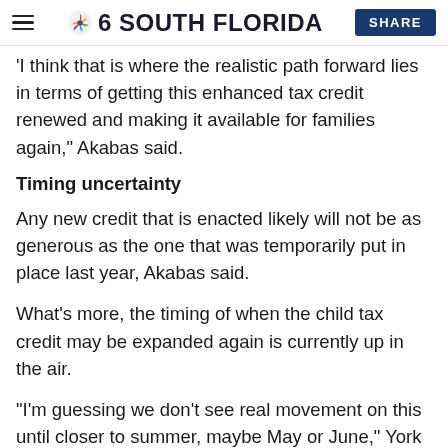NBC 6 South Florida | SHARE
'I think that is where the realistic path forward lies in terms of getting this enhanced tax credit renewed and making it available for families again,' Akabas said.
Timing uncertainty
Any new credit that is enacted likely will not be as generous as the one that was temporarily put in place last year, Akabas said.
What's more, the timing of when the child tax credit may be expanded again is currently up in the air.
"I'm guessing we don't see real movement on this until closer to summer, maybe May or June," York said, as Congress has other priorities, such as funding the